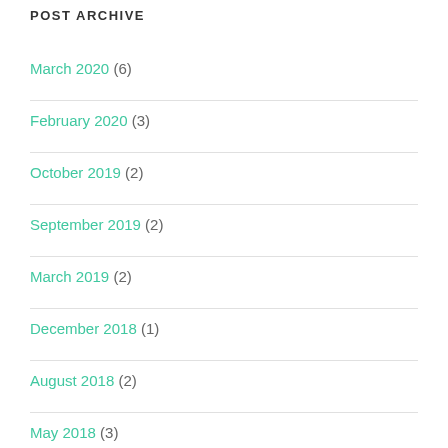POST ARCHIVE
March 2020 (6)
February 2020 (3)
October 2019 (2)
September 2019 (2)
March 2019 (2)
December 2018 (1)
August 2018 (2)
May 2018 (3)